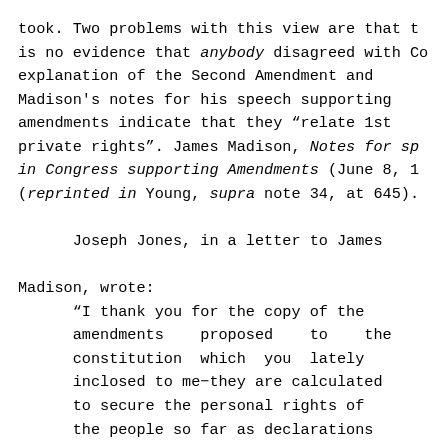took.  Two problems with this view are that there is no evidence that anybody disagreed with Co explanation of the Second Amendment and Madison's notes for his speech supporting amendments indicate that they "relate 1st private rights".  James Madison, Notes for sp in Congress supporting Amendments (June 8, 1 (reprinted in Young, supra note 34, at 645).

      Joseph Jones, in a letter to James Madison, wrote:
      "I thank you for the copy of the amendments        proposed     to     the constitution  which  you  lately inclosed to me-they are calculated to secure the personal rights of the people so far as declarations